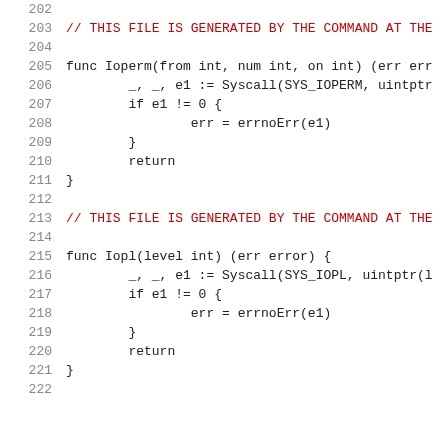202  
203  // THIS FILE IS GENERATED BY THE COMMAND AT THE
204  
205  func Ioperm(from int, num int, on int) (err err
206          _, _, e1 := Syscall(SYS_IOPERM, uintptr
207          if e1 != 0 {
208                  err = errnoErr(e1)
209          }
210          return
211  }
212  
213  // THIS FILE IS GENERATED BY THE COMMAND AT THE
214  
215  func Iopl(level int) (err error) {
216          _, _, e1 := Syscall(SYS_IOPL, uintptr(l
217          if e1 != 0 {
218                  err = errnoErr(e1)
219          }
220          return
221  }
222